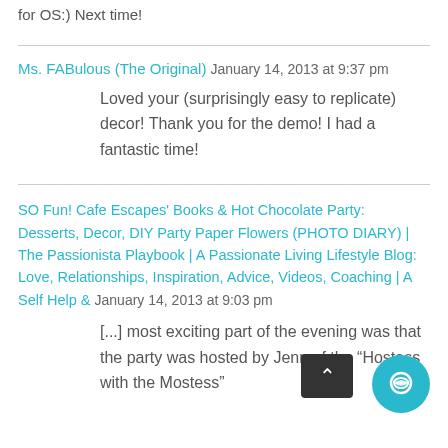for OS:) Next time!
Ms. FABulous (The Original)  January 14, 2013 at 9:37 pm
Loved your (surprisingly easy to replicate) decor! Thank you for the demo! I had a fantastic time!
SO Fun! Cafe Escapes' Books & Hot Chocolate Party: Desserts, Decor, DIY Party Paper Flowers (PHOTO DIARY) | The Passionista Playbook | A Passionate Living Lifestyle Blog: Love, Relationships, Inspiration, Advice, Videos, Coaching | A Self Help &  January 14, 2013 at 9:03 pm
[...] most exciting part of the evening was that the party was hosted by Jenn of the "Hostess with the Mostess"